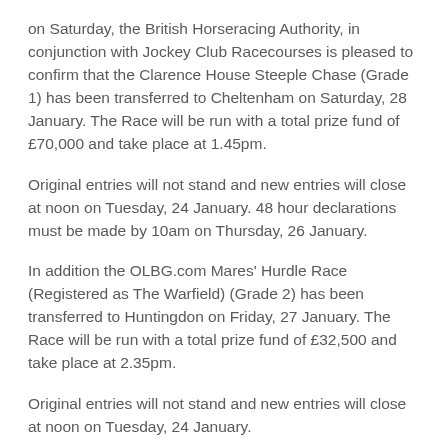on Saturday, the British Horseracing Authority, in conjunction with Jockey Club Racecourses is pleased to confirm that the Clarence House Steeple Chase (Grade 1) has been transferred to Cheltenham on Saturday, 28 January. The Race will be run with a total prize fund of £70,000 and take place at 1.45pm.
Original entries will not stand and new entries will close at noon on Tuesday, 24 January. 48 hour declarations must be made by 10am on Thursday, 26 January.
In addition the OLBG.com Mares' Hurdle Race (Registered as The Warfield) (Grade 2) has been transferred to Huntingdon on Friday, 27 January. The Race will be run with a total prize fund of £32,500 and take place at 2.35pm.
Original entries will not stand and new entries will close at noon on Tuesday, 24 January.